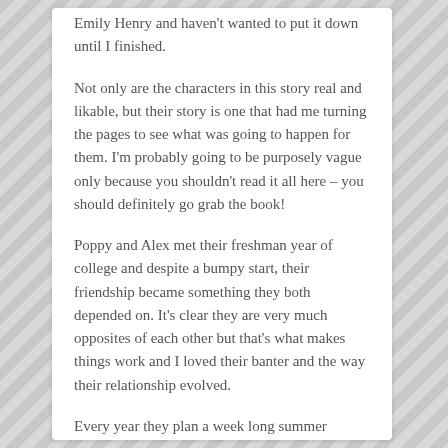Emily Henry and haven't wanted to put it down until I finished.
Not only are the characters in this story real and likable, but their story is one that had me turning the pages to see what was going to happen for them. I'm probably going to be purposely vague only because you shouldn't read it all here – you should definitely go grab the book!
Poppy and Alex met their freshman year of college and despite a bumpy start, their friendship became something they both depended on. It's clear they are very much opposites of each other but that's what makes things work and I loved their banter and the way their relationship evolved.
Every year they plan a week long summer